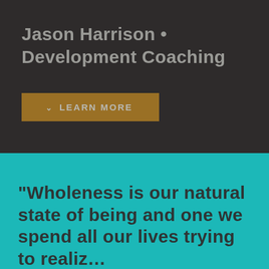Jason Harrison • Development Coaching
LEARN MORE
“Wholeness is our natural state of being and one we spend all our lives trying to realiz… When we fully